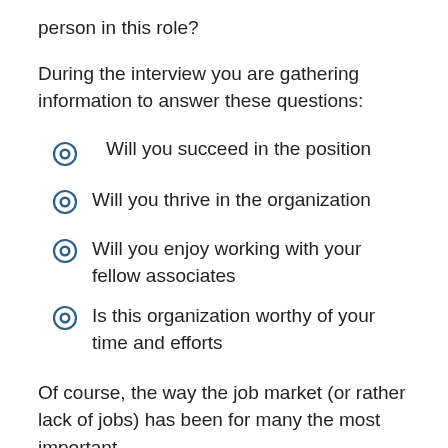person in this role?
During the interview you are gathering information to answer these questions:
Will you succeed in the position
Will you thrive in the organization
Will you enjoy working with your fellow associates
Is this organization worthy of your time and efforts
Of course, the way the job market (or rather lack of jobs) has been for many the most important